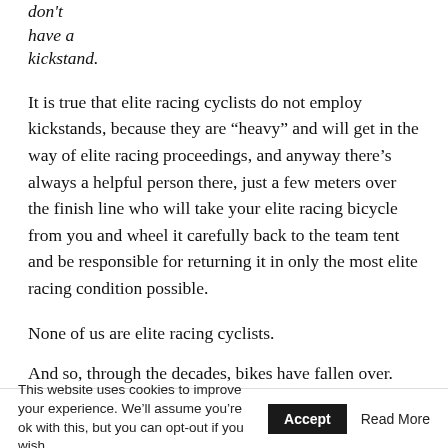don't have a kickstand.
It is true that elite racing cyclists do not employ kickstands, because they are “heavy” and will get in the way of elite racing proceedings, and anyway there’s always a helpful person there, just a few meters over the finish line who will take your elite racing bicycle from you and wheel it carefully back to the team tent and be responsible for returning it in only the most elite racing condition possible.
None of us are elite racing cyclists.
And so, through the decades, bikes have fallen over. Steel bikes fell over and their paint chipped. Aluminum bikes fell over and dented. Carbon fiber bikes fell over and became
This website uses cookies to improve your experience. We’ll assume you’re ok with this, but you can opt-out if you wish. Accept Read More